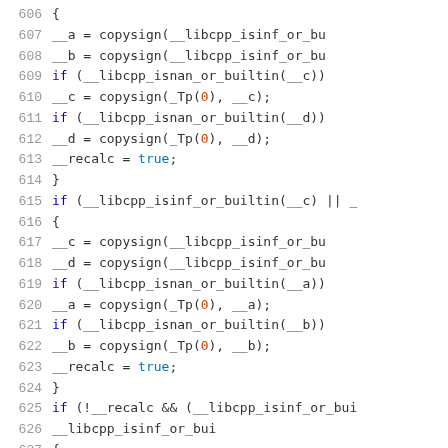Source code listing, lines 606-627, C++ code with libcpp complex number handling functions